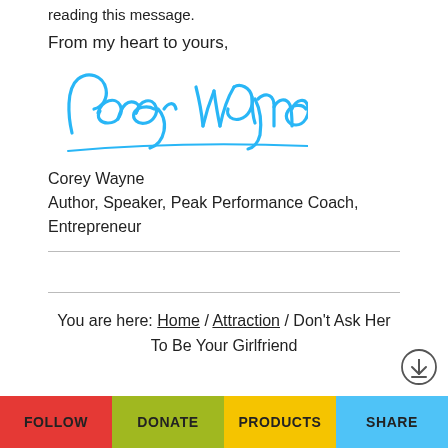reading this message.
From my heart to yours,
[Figure (illustration): Handwritten cursive signature in blue ink reading 'Corey Wayne']
Corey Wayne
Author, Speaker, Peak Performance Coach, Entrepreneur
You are here: Home / Attraction / Don't Ask Her To Be Your Girlfriend
Published on November 15, 2012
FOLLOW   DONATE   PRODUCTS   SHARE